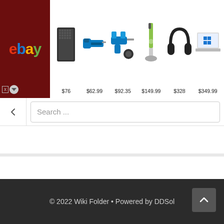[Figure (screenshot): eBay advertisement banner showing various products with prices: speaker $76, power saw $62.99, drill combo $92.35, vacuum $149.99, headphones $328 (partially visible), laptop $349.99]
Search ...
© 2022 Wiki Folder • Powered by DDSol